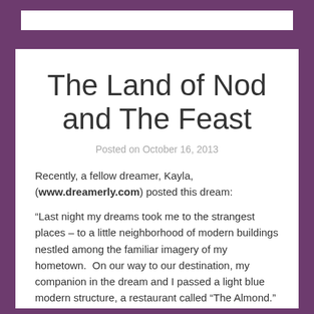The Land of Nod and The Feast
Posted on October 16, 2013
Recently, a fellow dreamer, Kayla, (www.dreamerly.com) posted this dream:
“Last night my dreams took me to the strangest places – to a little neighborhood of modern buildings nestled among the familiar imagery of my hometown.  On our way to our destination, my companion in the dream and I passed a light blue modern structure, a restaurant called “The Almond.” (I think that name is delightful and if I were to